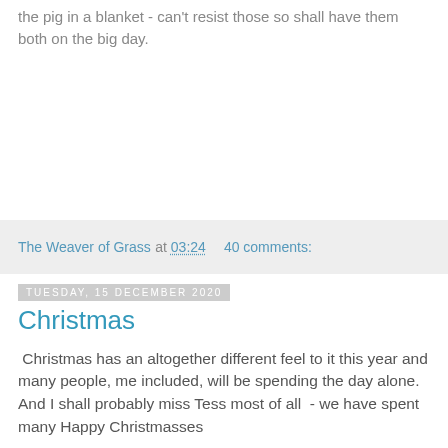the pig in a blanket - can't resist those so shall have them both on the big day.
The Weaver of Grass at 03:24    40 comments:
Tuesday, 15 December 2020
Christmas
Christmas has an altogether different feel to it this year and many people, me included, will be spending the day alone.   And I shall probably miss Tess most of all  - we have spent many Happy Christmasses